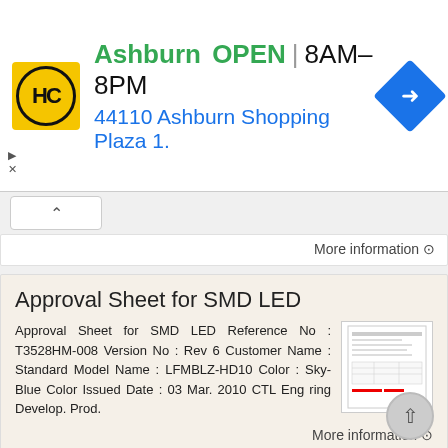[Figure (screenshot): Advertisement banner for Ashburn Hardware store with yellow HC logo, OPEN 8AM-8PM text, address 44110 Ashburn Shopping Plaza 1., and blue navigation arrow icon]
More information →
Approval Sheet for SMD LED
Approval Sheet for SMD LED Reference No : T3528HM-008 Version No : Rev 6 Customer Name : Standard Model Name : LFMBLZ-HD10 Color : Sky-Blue Color Issued Date : 03 Mar. 2010 CTL Eng ring Develop. Prod.
More information →
Specification KWT803-S
Specification KWT803-S SSC Customer Drawn Approval Approval CONTENTS 1.